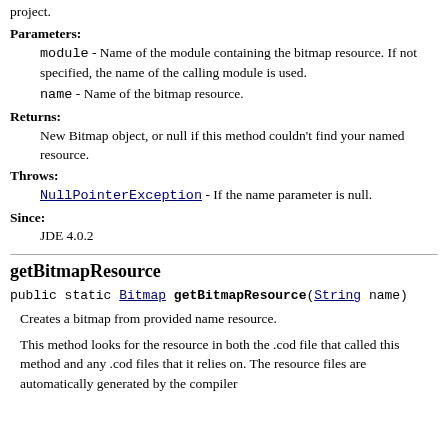project.
Parameters:
module - Name of the module containing the bitmap resource. If not specified, the name of the calling module is used.
name - Name of the bitmap resource.
Returns:
New Bitmap object, or null if this method couldn't find your named resource.
Throws:
NullPointerException - If the name parameter is null.
Since:
JDE 4.0.2
getBitmapResource
public static Bitmap getBitmapResource(String name)
Creates a bitmap from provided name resource.
This method looks for the resource in both the .cod file that called this method and any .cod files that it relies on. The resource files are automatically generated by the compiler